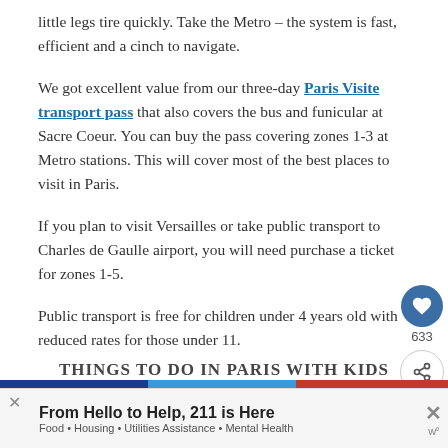little legs tire quickly. Take the Metro – the system is fast, efficient and a cinch to navigate.
We got excellent value from our three-day Paris Visite transport pass that also covers the bus and funicular at Sacre Coeur. You can buy the pass covering zones 1-3 at Metro stations. This will cover most of the best places to visit in Paris.
If you plan to visit Versailles or take public transport to Charles de Gaulle airport, you will need purchase a ticket for zones 1-5.
Public transport is free for children under 4 years old with reduced rates for those under 11.
THINGS TO DO IN PARIS WITH KIDS
From Hello to Help, 211 is Here
Food • Housing • Utilities Assistance • Mental Health